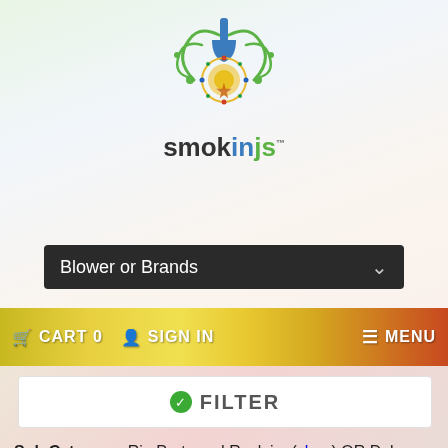[Figure (logo): SmokinJs brand logo with decorative green swirl and blue shovel icon above stylized text 'smokinjs']
[Figure (screenshot): Dark dropdown selector labeled 'Blower or Brands' with chevron arrow]
[Figure (screenshot): Navigation bar with colorful gradient background (yellow to red) showing CART 0, SIGN IN, and MENU items]
[Figure (screenshot): White filter button with green check icon and 'FILTER' label]
Sub Category: Rig Parts and Reclaim (clear) OR Dab Tools (clear) OR hand blown jars (clear) OR Fanny Pack (clear) OR Pot Leaf (clear) OR 18mm (clear) OR Glass Blunt (clear) OR Wood Box (clear) OR Trays (clear) OR Tie Dye T Shirt (clear) OR Incense Burner (clear) OR 10mm (clear) OR Vape